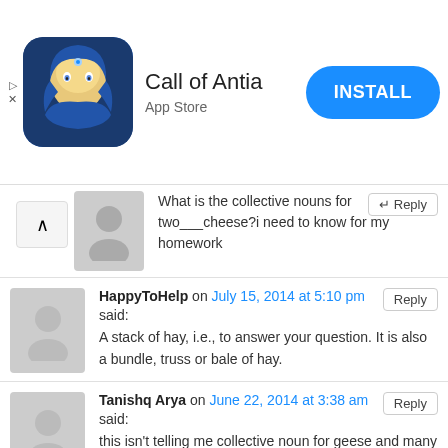[Figure (screenshot): App store advertisement banner for 'Call of Antia' with app icon, title, subtitle 'App Store', and blue INSTALL button]
What is the collective nouns for two___cheese?i need to know for my homework
HappyToHelp on July 15, 2014 at 5:10 pm said: A stack of hay, i.e., to answer your question. It is also a bundle, truss or bale of hay.
Tanishq Arya on June 22, 2014 at 3:38 am said: this isn't telling me collective noun for geese and many more .I wann'a it for my summer vacaation homewark. please tell me that